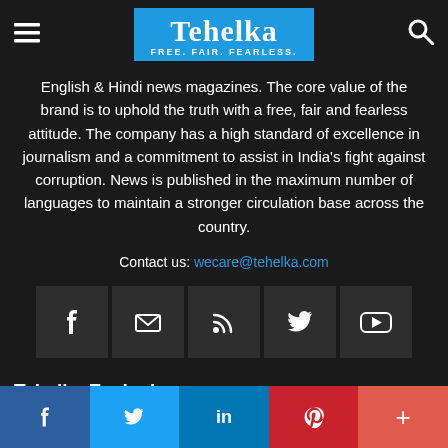Tehelka — FREE. FAIR. FEARLESS.
English & Hindi news magazines. The core value of the brand is to uphold the truth with a free, fair and fearless attitude. The company has a high standard of excellence in journalism and a commitment to assist in India's fight against corruption. News is published in the maximum number of languages to maintain a stronger circulation base across the country.
Contact us: wecare@tehelka.com
[Figure (other): Row of 5 social media icon buttons: Facebook, Email/Envelope, RSS feed, Twitter, YouTube]
Tehelka Exclusive
CM Kejriwal tables confidence motion in Delhi Assembly
[Figure (other): Bottom share bar with Facebook (blue), Twitter (light blue), LinkedIn (dark blue), Pinterest (red), Plus/More (coral red) buttons]